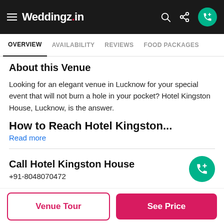Weddingz.in
OVERVIEW  AVAILABILITY  REVIEWS  FOOD PACKAGES
About this Venue
Looking for an elegant venue in Lucknow for your special event that will not burn a hole in your pocket? Hotel Kingston House, Lucknow, is the answer.
How to Reach Hotel Kingston...
Read more
Call Hotel Kingston House
+91-8048070472